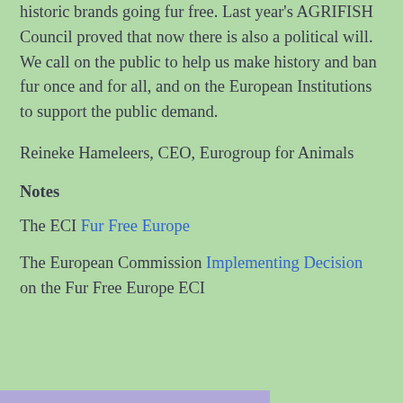historic brands going fur free. Last year's AGRIFISH Council proved that now there is also a political will. We call on the public to help us make history and ban fur once and for all, and on the European Institutions to support the public demand.
Reineke Hameleers, CEO, Eurogroup for Animals
Notes
The ECI Fur Free Europe
The European Commission Implementing Decision on the Fur Free Europe ECI